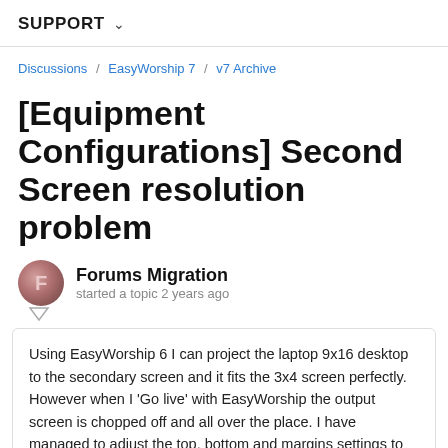SUPPORT
Discussions / EasyWorship 7 / v7 Archive
[Equipment Configurations] Second Screen resolution problem
Forums Migration
started a topic 2 years ago
Using EasyWorship 6 I can project the laptop 9x16 desktop to the secondary screen and it fits the 3x4 screen perfectly. However when I 'Go live' with EasyWorship the output screen is chopped off and all over the place. I have managed to adjust the top, bottom and margins settings to get it sort of readable but I really need some advice on how to return the settings to their